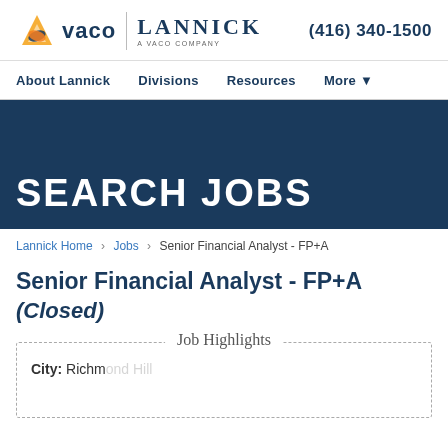[Figure (logo): Vaco and Lannick (A Vaco Company) logo with orange triangle icon and navy text]
(416) 340-1500
About Lannick | Divisions | Resources | More
SEARCH JOBS
Lannick Home > Jobs > Senior Financial Analyst - FP+A
Senior Financial Analyst - FP+A (Closed)
Job Highlights
City: Richmond Hill...